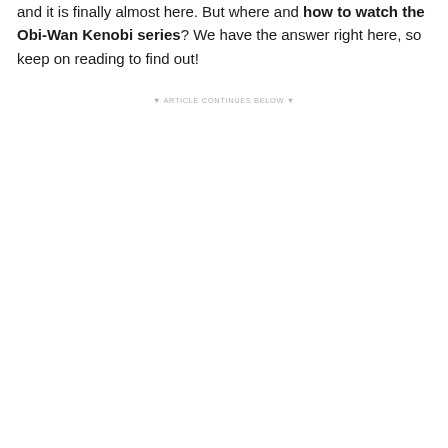and it is finally almost here. But where and how to watch the Obi-Wan Kenobi series? We have the answer right here, so keep on reading to find out!
▼ ARTICLE CONTINUES BELOW ▼